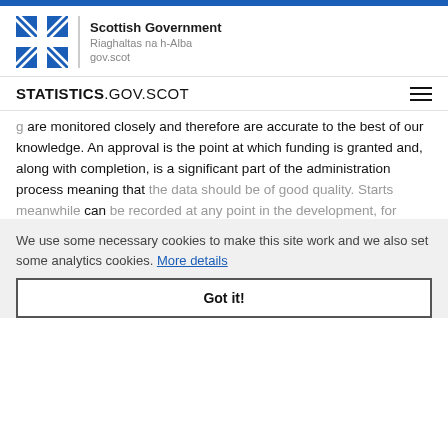Scottish Government Riaghaltas na h-Alba gov.scot | STATISTICS.GOV.SCOT
are monitored closely and therefore are accurate to the best of our knowledge. An approval is the point at which funding is granted and, along with completion, is a significant part of the administration process meaning that the data should be of good quality. Starts meanwhile can be recorded at any point in the development, for example when site clearance begins or any point up to the beginning of ground works for foundations. As a result approvals are generally deemed a better measure than starts for AHSP data.
We use some necessary cookies to make this site work and we also set some analytics cookies. More details
Got it!
Coherence and Comparability
These statistics are not seasonally adjusted, so